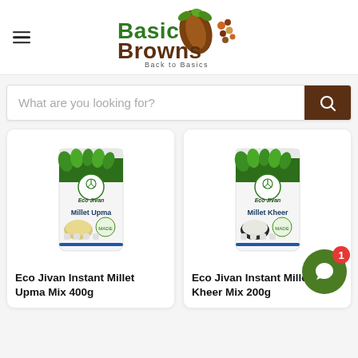[Figure (logo): Basic Browns 'Back to Basics' brand logo with green leaf and brown seed imagery]
What are you looking for?
[Figure (photo): Eco Jivan Instant Millet Upma Mix 400g product package]
Eco Jivan Instant Millet Upma Mix 400g
[Figure (photo): Eco Jivan Instant Millet Kheer Mix 200g product package]
Eco Jivan Instant Millet Kheer Mix 200g